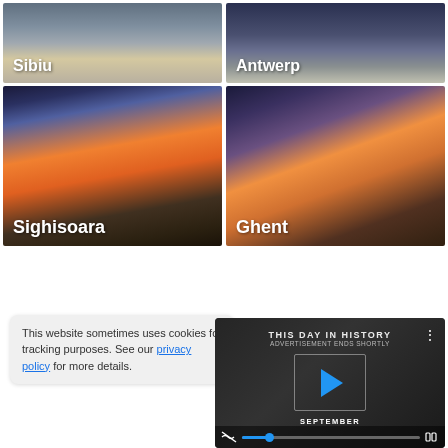[Figure (photo): City thumbnail labeled Sibiu - aerial cityscape view]
[Figure (photo): City thumbnail labeled Antwerp - nighttime cityscape]
[Figure (photo): City thumbnail labeled Sighisoara - sunset over medieval city]
[Figure (photo): City thumbnail labeled Ghent - evening cityscape with gothic buildings]
This website sometimes uses cookies for tracking purposes. See our privacy policy for more details.
[Figure (screenshot): Video widget showing THIS DAY IN HISTORY with play button and SEPTEMBER label, video controls with mute, progress bar, and fullscreen button]